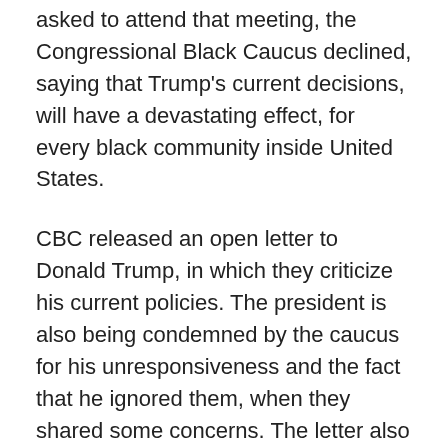asked to attend that meeting, the Congressional Black Caucus declined, saying that Trump's current decisions, will have a devastating effect, for every black community inside United States.
CBC released an open letter to Donald Trump, in which they criticize his current policies. The president is also being condemned by the caucus for his unresponsiveness and the fact that he ignored them, when they shared some concerns. The letter also states that all 49 CBC congressmen will not meet with him, because of that reason. In their opinion, millions of black people are a direct victim of Trump's administration and a simple social meeting like that, won't fix their problems.
The Black Caucus was founded in 1971 and it represents the issues of Afro-American people, in the